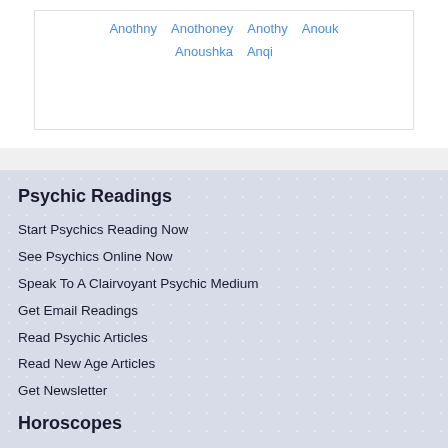Anothny  Anothoney  Anothy  Anouk  Anoushka  Anqi
Psychic Readings
Start Psychics Reading Now
See Psychics Online Now
Speak To A Clairvoyant Psychic Medium
Get Email Readings
Read Psychic Articles
Read New Age Articles
Get Newsletter
Horoscopes